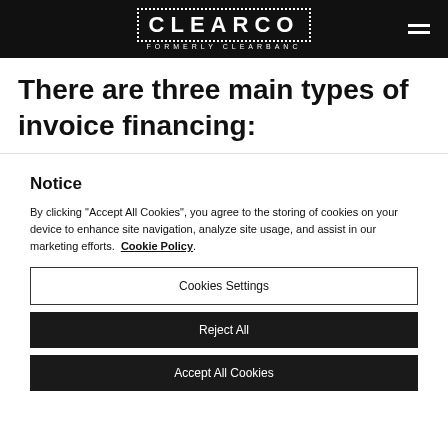CLEARCO FORMERLY CLEARBANC
There are three main types of invoice financing:
Notice
By clicking "Accept All Cookies", you agree to the storing of cookies on your device to enhance site navigation, analyze site usage, and assist in our marketing efforts. Cookie Policy.
Cookies Settings
Reject All
Accept All Cookies